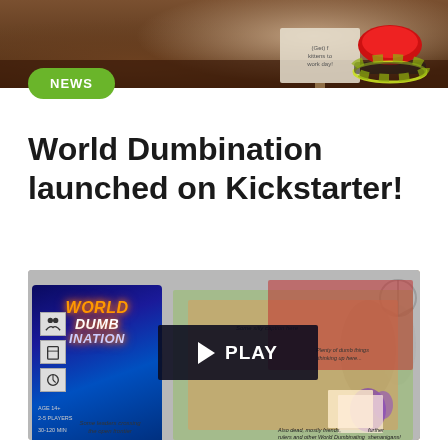[Figure (photo): Top portion of a scene with a dark wooden table, a sign and a large red button with green/yellow striped base visible]
NEWS
World Dumbination launched on Kickstarter!
[Figure (photo): World Dumbination board game box cover alongside the game board components spread out, with a PLAY button overlay in the center]